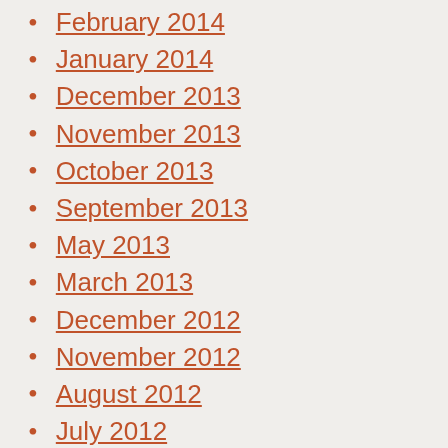February 2014
January 2014
December 2013
November 2013
October 2013
September 2013
May 2013
March 2013
December 2012
November 2012
August 2012
July 2012
May 2012
April 2012
March 2012